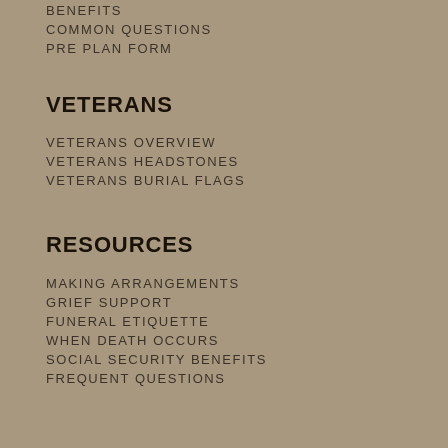BENEFITS
COMMON QUESTIONS
PRE PLAN FORM
VETERANS
VETERANS OVERVIEW
VETERANS HEADSTONES
VETERANS BURIAL FLAGS
RESOURCES
MAKING ARRANGEMENTS
GRIEF SUPPORT
FUNERAL ETIQUETTE
WHEN DEATH OCCURS
SOCIAL SECURITY BENEFITS
FREQUENT QUESTIONS